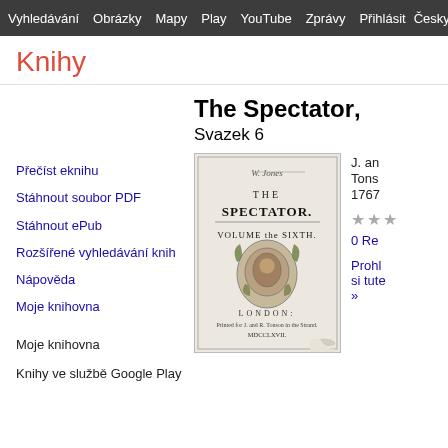Vyhledávání Obrázky Mapy Play YouTube Zprávy Přihlásit Česky Da
Knihy
Přečíst eknihu
Stáhnout soubor PDF
Stáhnout ePub
Rozšířené vyhledávání knih
Nápověda
Moje knihovna
Moje knihovna
Knihy ve službě Google Play
The Spectator, Svazek 6
[Figure (photo): Scanned cover page of The Spectator Volume the Sixth, London, printed by Jacob Tonson, MDCCLXVII]
J. an Tonson 1767
0 Re
Prohl si tute »